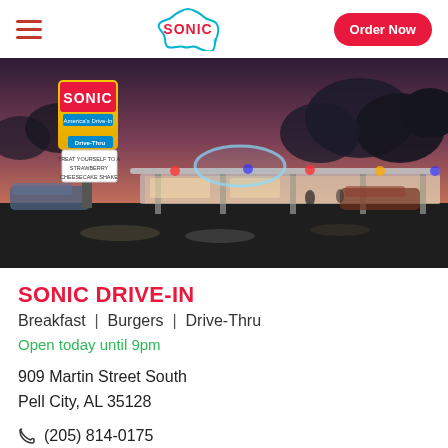SONIC | Order Now
[Figure (photo): Exterior night photo of a Sonic Drive-In restaurant with illuminated signage reading 'SONIC America's Drive-In' and 'TREAT YOURSELF TO A STRAWBERRY CHEESECAKE SHAKE'. Cars visible in drive-in stalls, colorful lights reflecting on wet pavement at dusk.]
SONIC DRIVE-IN
Breakfast | Burgers | Drive-Thru
Open today until 9pm
909 Martin Street South
Pell City, AL 35128
(205) 814-0175